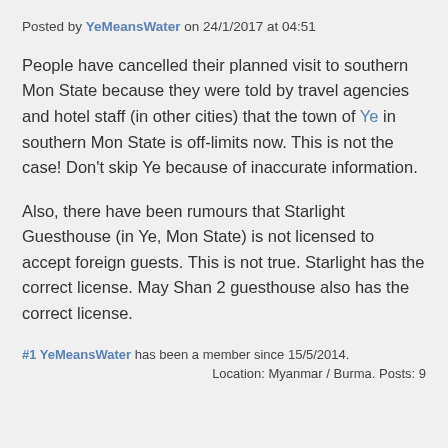Posted by YeMeansWater on 24/1/2017 at 04:51
People have cancelled their planned visit to southern Mon State because they were told by travel agencies and hotel staff (in other cities) that the town of Ye in southern Mon State is off-limits now. This is not the case! Don't skip Ye because of inaccurate information.
Also, there have been rumours that Starlight Guesthouse (in Ye, Mon State) is not licensed to accept foreign guests. This is not true. Starlight has the correct license. May Shan 2 guesthouse also has the correct license.
#1 YeMeansWater has been a member since 15/5/2014. Location: Myanmar / Burma. Posts: 9